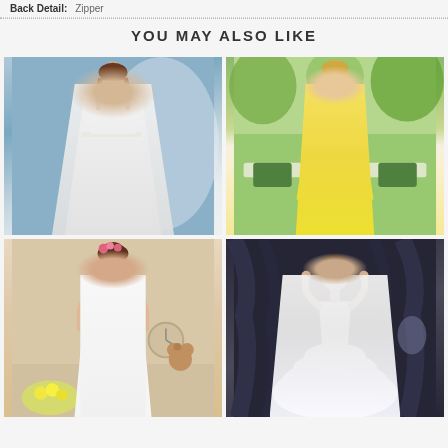Back Detail: Zipper
YOU MAY ALSO LIKE
[Figure (photo): Model wearing a white wedding gown with sweetheart neckline and embellished waist belt, posed against a blue wall background]
[Figure (photo): Model wearing a yellow halter bridesmaid dress, standing in a garden setting with green and white furniture and floral decorations]
[Figure (photo): Young girl in a white flower girl dress with sash, standing in a warm-toned room with a teddy bear and flowers]
[Figure (photo): Model in a white ruffled ball gown wedding dress, posed against dark grey curtain backdrop]